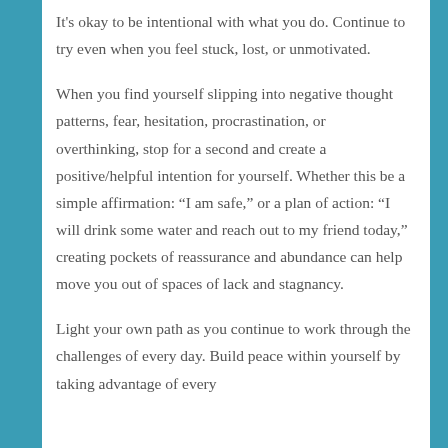It's okay to be intentional with what you do. Continue to try even when you feel stuck, lost, or unmotivated.
When you find yourself slipping into negative thought patterns, fear, hesitation, procrastination, or overthinking, stop for a second and create a positive/helpful intention for yourself. Whether this be a simple affirmation: “I am safe,” or a plan of action: “I will drink some water and reach out to my friend today,” creating pockets of reassurance and abundance can help move you out of spaces of lack and stagnancy.
Light your own path as you continue to work through the challenges of every day. Build peace within yourself by taking advantage of every